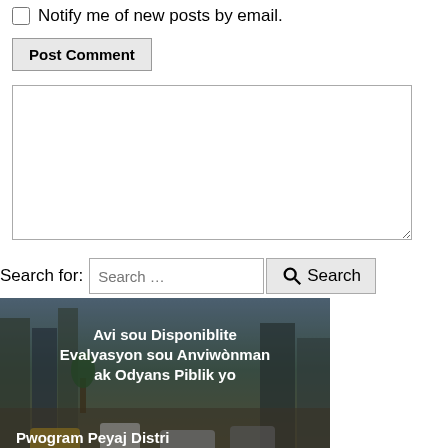☐ Notify me of new posts by email.
Post Comment
[Figure (other): Empty textarea/comment input box with resize handle]
Search for: Search …  Search
[Figure (photo): City street scene with text overlay: 'Avi sou Disponiblite Evalyasyon sou Anviwònman ak Odyans Piblik yo' and 'Pwogram Peyaj Distri Sant Biznis']